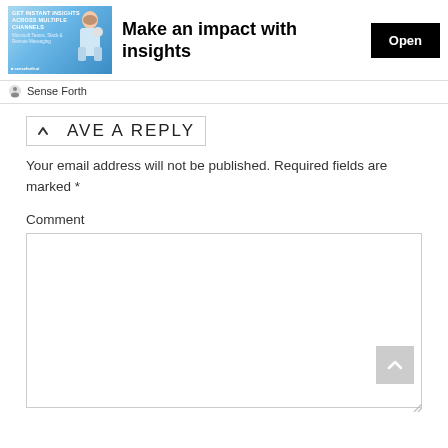[Figure (screenshot): Advertisement banner: image of woman with text 'GET INSTANT INSIGHTS ACROSS MULTIPLE CHANNELS', headline 'Make an impact with insights', Open button, and 'Sense Forth' source label]
LEAVE A REPLY
Your email address will not be published. Required fields are marked *
Comment
[Figure (screenshot): Empty comment textarea input box with resize handle]